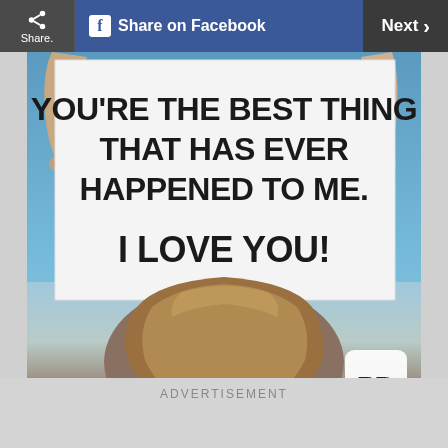Share  |  Share on Facebook  |  Next >
[Figure (photo): Person holding up a white sign against a blue sky that reads YOU'RE THE BEST THING THAT HAS EVER HAPPENED TO ME. I LOVE YOU! with Reader's Digest RD logo in the bottom right corner]
RD.COM/GETTYIMAGES
ADVERTISEMENT